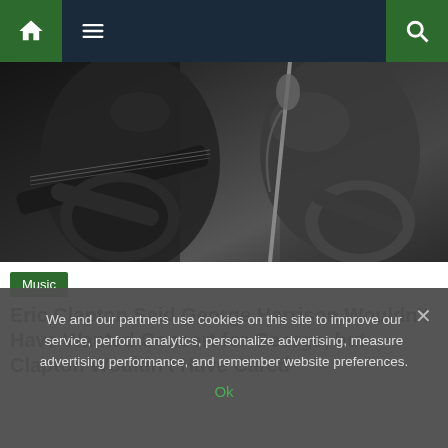Navigation bar with home, menu, and search icons
[Figure (photo): Black and white photograph of two musicians playing electric guitars on stage, with a microphone visible]
Music
Eric Clapton Said George Harrison Wouldn't Have Wanted Concert for George, but Clapton Wouldn't Have Cared
We and our partners use cookies on this site to improve our service, perform analytics, personalize advertising, measure advertising performance, and remember website preferences.
Ok